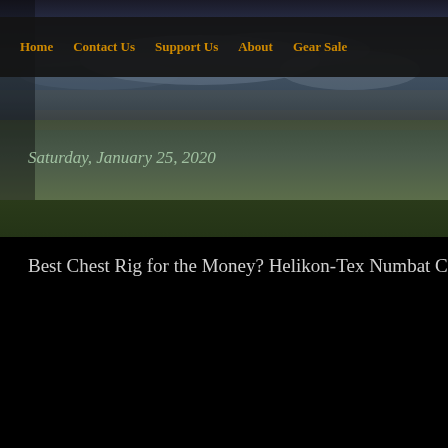[Figure (photo): Outdoor landscape background with a dramatic sky showing clouds at dusk/dawn and a green field/grass in the lower portion]
Home | Contact Us | Support Us | About | Gear Sale
Saturday, January 25, 2020
Best Chest Rig for the Money? Helikon-Tex Numbat Ch